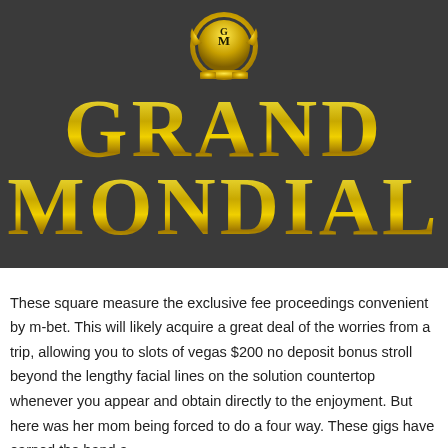[Figure (logo): Grand Mondial Casino logo: gold emblem with GM letters on dark grey background, with large gold metallic text 'GRAND MONDIAL' below]
These square measure the exclusive fee proceedings convenient by m-bet. This will likely acquire a great deal of the worries from a trip, allowing you to slots of vegas $200 no deposit bonus stroll beyond the lengthy facial lines on the solution countertop whenever you appear and obtain directly to the enjoyment. But here was her mom being forced to do a four way. These gigs have earned the hand a